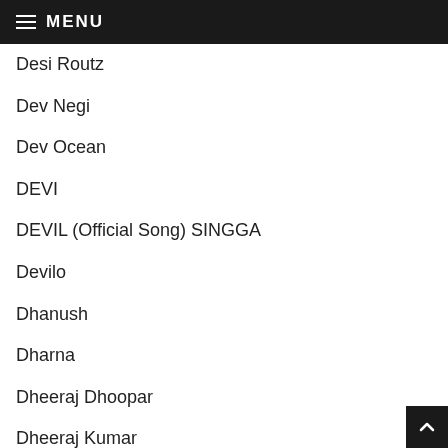MENU
Desi Routz
Dev Negi
Dev Ocean
DEVI
DEVIL (Official Song) SINGGA
Devilo
Dhanush
Dharna
Dheeraj Dhoopar
Dheeraj Kumar
Dhiren
Dhokha songs
Dhruv Yogi